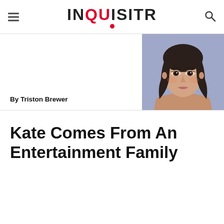INQUISITR
By Triston Brewer
[Figure (photo): Portrait photo of a young woman with dark hair against a purple/blue background]
Kate Comes From An Entertainment Family